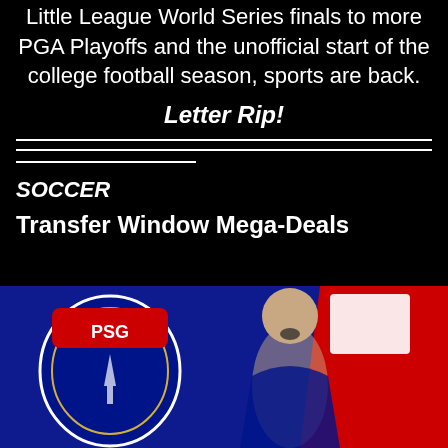Little League World Series finals to more PGA Playoffs and the unofficial start of the college football season, sports are back.
Letter Rip!
SOCCER
Transfer Window Mega-Deals
[Figure (photo): Soccer player celebrating with mouth open, wearing PSG-related attire, with red and blue PSG flag/banner in background]